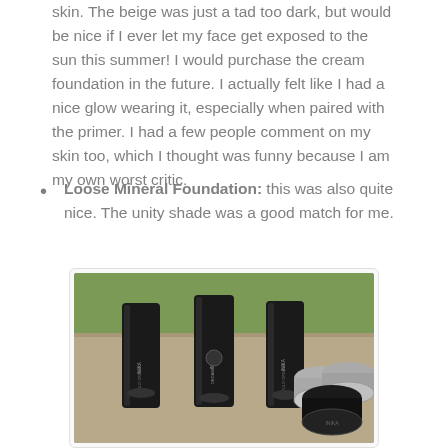skin. The beige was just a tad too dark, but would be nice if I ever let my face get exposed to the sun this summer! I would purchase the cream foundation in the future. I actually felt like I had a nice glow wearing it, especially when paired with the primer. I had a few people comment on my skin too, which I thought was funny because I am my own worst critic.
Loose Mineral Foundation: this was also quite nice. The unity shade was a good match for me.
[Figure (photo): Photo of three black INIKA Fully Organic tubes/bottles standing upright on a stone surface outdoors, alongside three round loose mineral foundation containers, with green grass visible in the background.]